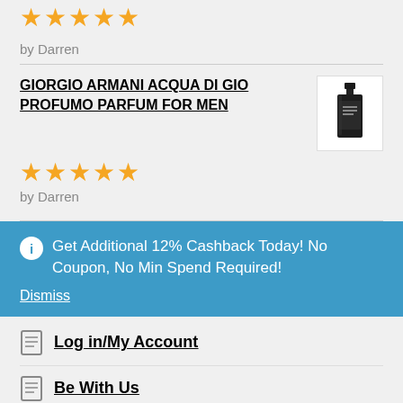[Figure (other): Five orange star rating icons]
by Darren
GIORGIO ARMANI ACQUA DI GIO PROFUMO PARFUM FOR MEN
[Figure (photo): Small product image of Giorgio Armani Acqua Di Gio Profumo perfume bottle in black]
[Figure (other): Five orange star rating icons]
by Darren
Get Additional 12% Cashback Today! No Coupon, No Min Spend Required!
Dismiss
Log in/My Account
Be With Us